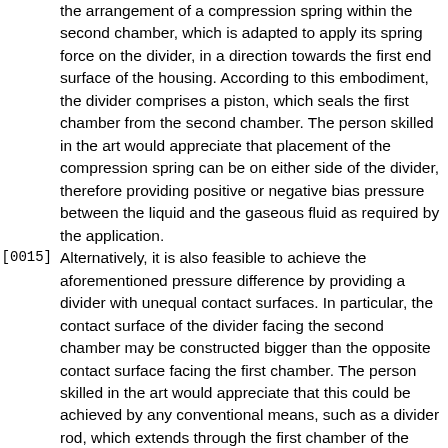the arrangement of a compression spring within the second chamber, which is adapted to apply its spring force on the divider, in a direction towards the first end surface of the housing. According to this embodiment, the divider comprises a piston, which seals the first chamber from the second chamber. The person skilled in the art would appreciate that placement of the compression spring can be on either side of the divider, therefore providing positive or negative bias pressure between the liquid and the gaseous fluid as required by the application.
[0015] Alternatively, it is also feasible to achieve the aforementioned pressure difference by providing a divider with unequal contact surfaces. In particular, the contact surface of the divider facing the second chamber may be constructed bigger than the opposite contact surface facing the first chamber. The person skilled in the art would appreciate that this could be achieved by any conventional means, such as a divider rod, which extends through the first chamber of the housing.